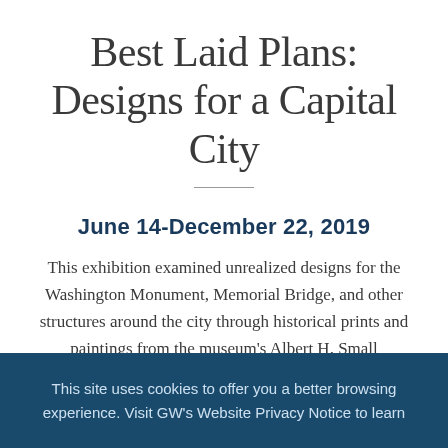Best Laid Plans: Designs for a Capital City
June 14-December 22, 2019
This exhibition examined unrealized designs for the Washington Monument, Memorial Bridge, and other structures around the city through historical prints and paintings from the museum's Albert H. Small Washingtoniana Collection.
This site uses cookies to offer you a better browsing experience. Visit GW's Website Privacy Notice to learn